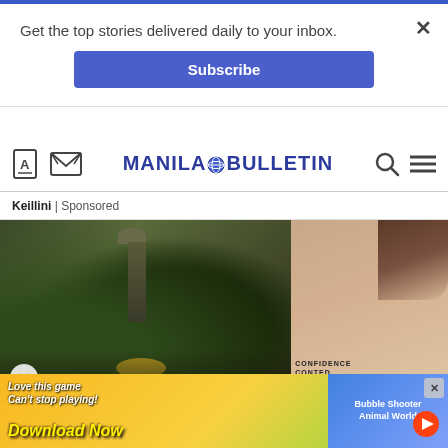Get the top stories delivered daily to your inbox.
Subscribe
[Figure (logo): Manila Bulletin logo with navigation icons including translate, email, search, and hamburger menu]
Keillini | Sponsored
[Figure (photo): Advertisement image split into two panels: left side shows dark moody scene with plants and an antique lamp with gold accents, right side shows a woman with brown hair wearing a graphic t-shirt]
[Figure (photo): Bottom banner advertisement: colorful game ad reading 'Love this game Can't stop playing! Download Now' with Bubble Shooter Animal World branding on the right side]